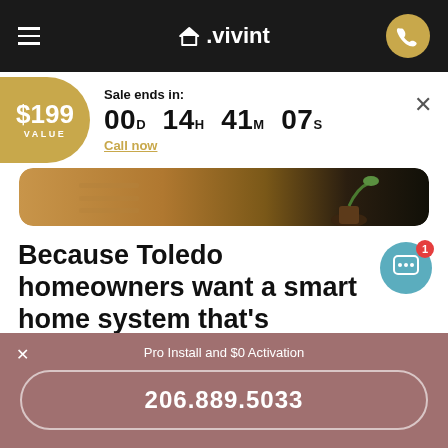Vivint
Sale ends in: 00D 14H 41M 07S
$199 VALUE
Call now
[Figure (photo): Interior home furniture - wooden dresser and plant in dark pot]
Because Toledo homeowners want a smart home system that's intelligent, not just programmable
Pro Install and $0 Activation
206.889.5033